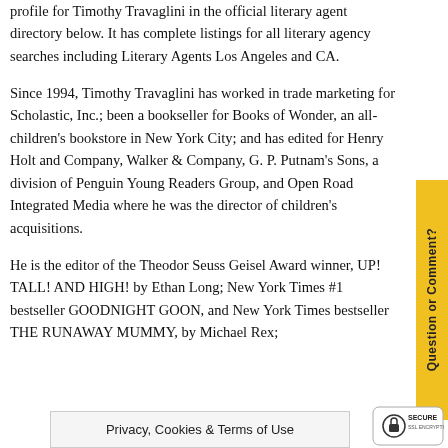profile for Timothy Travaglini in the official literary agent directory below. It has complete listings for all literary agency searches including Literary Agents Los Angeles and CA.
Since 1994, Timothy Travaglini has worked in trade marketing for Scholastic, Inc.; been a bookseller for Books of Wonder, an all-children's bookstore in New York City; and has edited for Henry Holt and Company, Walker & Company, G. P. Putnam's Sons, a division of Penguin Young Readers Group, and Open Road Integrated Media where he was the director of children's acquisitions.
He is the editor of the Theodor Seuss Geisel Award winner, UP! TALL! AND HIGH! by Ethan Long; New York Times #1 bestseller GOODNIGHT GOON, and New York Times bestseller THE RUNAWAY MUMMY, by Michael Rex;
Privacy, Cookies & Terms of Use